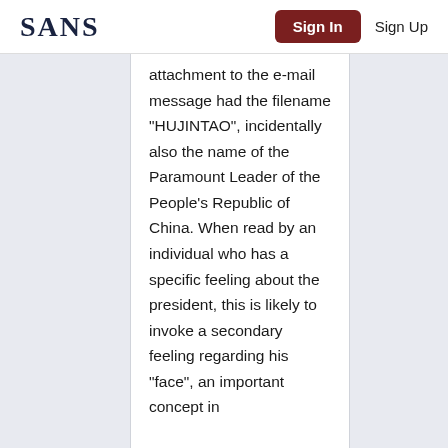SANS | Sign In | Sign Up
attachment to the e-mail message had the filename “HUJINTAO”, incidentally also the name of the Paramount Leader of the People’s Republic of China. When read by an individual who has a specific feeling about the president, this is likely to invoke a secondary feeling regarding his “face”, an important concept in